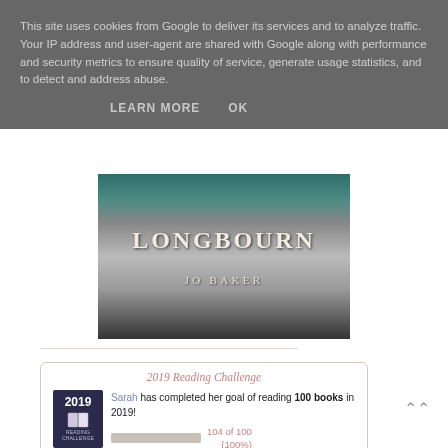This site uses cookies from Google to deliver its services and to analyze traffic. Your IP address and user-agent are shared with Google along with performance and security metrics to ensure quality of service, generate usage statistics, and to detect and address abuse.
LEARN MORE   OK
[Figure (illustration): Book cover for 'Longbourn' by Jo Baker, showing draped fabric/curtains against a dark background with teal/green tones]
2019 Reading Challenge
Sarah has completed her goal of reading 100 books in 2019! 104 of 100 (100%) view books